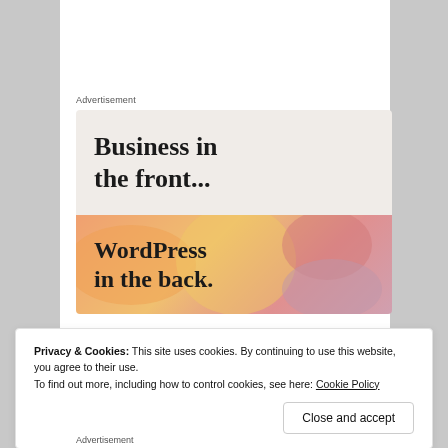Advertisement
[Figure (illustration): WordPress advertisement banner. Top half: light beige background with bold serif text 'Business in the front...'. Bottom half: colorful gradient background (orange, yellow, pink tones) with overlapping blob shapes and bold serif text 'WordPress in the back.']
Privacy & Cookies: This site uses cookies. By continuing to use this website, you agree to their use.
To find out more, including how to control cookies, see here: Cookie Policy
Close and accept
Advertisement